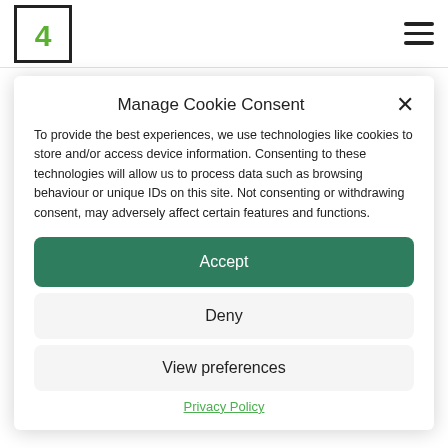[Figure (logo): Square logo with number 4 in green inside a black bordered rectangle]
[Figure (other): Hamburger menu icon with three horizontal lines]
Manage Cookie Consent
To provide the best experiences, we use technologies like cookies to store and/or access device information. Consenting to these technologies will allow us to process data such as browsing behaviour or unique IDs on this site. Not consenting or withdrawing consent, may adversely affect certain features and functions.
Accept
Deny
View preferences
Privacy Policy